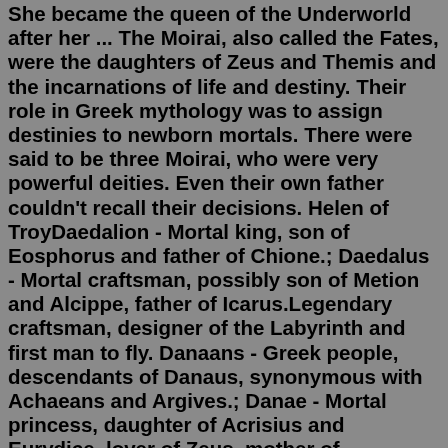She became the queen of the Underworld after her ... The Moirai, also called the Fates, were the daughters of Zeus and Themis and the incarnations of life and destiny. Their role in Greek mythology was to assign destinies to newborn mortals. There were said to be three Moirai, who were very powerful deities. Even their own father couldn't recall their decisions. Helen of TroyDaedalion - Mortal king, son of Eosphorus and father of Chione.; Daedalus - Mortal craftsman, possibly son of Metion and Alcippe, father of Icarus.Legendary craftsman, designer of the Labyrinth and first man to fly. Danaans - Greek people, descendants of Danaus, synonymous with Achaeans and Argives.; Danae - Mortal princess, daughter of Acrisius and Eurydice, lover of Zeus, mother of Perseus.Zeus is the Greek god of the sky, thunder, lightning, kingship, honor and justice. Throughout the series, Zeus is mentioned to be the most powerful god. He is the king of Olympus, the youngest son of the Titans Kronos and Rhea, and the husband of the goddess Hera. His Roman counterpart